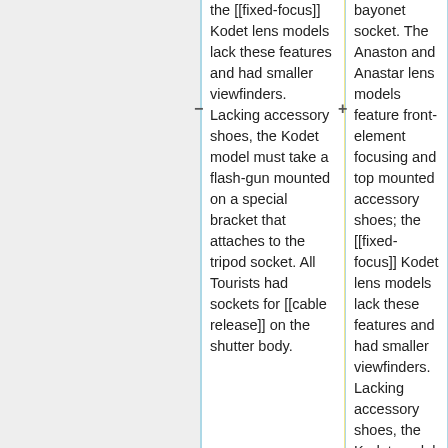the [[fixed-focus]] Kodet lens models lack these features and had smaller viewfinders. Lacking accessory shoes, the Kodet model must take a flash-gun mounted on a special bracket that attaches to the tripod socket. All Tourists had sockets for [[cable release]] on the shutter body.
bayonet socket. The Anaston and Anastar lens models feature front-element focusing and top mounted accessory shoes; the [[fixed-focus]] Kodet lens models lack these features and had smaller viewfinders. Lacking accessory shoes, the Kodet model must take a flash-gun mounted on a special bracket that attaches to the tripod socket.